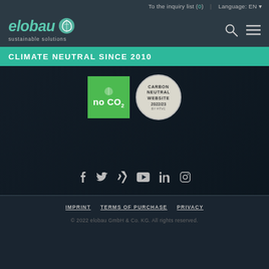To the inquiry list (0) | Language: EN
[Figure (logo): elobau sustainable solutions logo with leaf/e icon]
CLIMATE NEUTRAL SINCE 2010
[Figure (infographic): Green no CO2 badge and Carbon Neutral Website 2022/23 circular badge, followed by social media icons: Facebook, Twitter, Xing, YouTube, LinkedIn, Instagram]
IMPRINT  TERMS OF PURCHASE  PRIVACY
© 2022 elobau GmbH & Co. KG. All rights reserved.